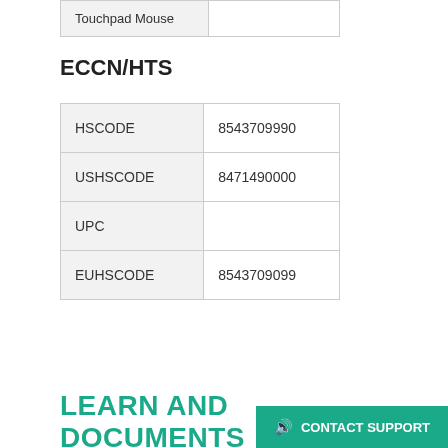| Touchpad Mouse |  |
ECCN/HTS
| HSCODE | 8543709990 |
| USHSCODE | 8471490000 |
| UPC |  |
| EUHSCODE | 8543709099 |
LEARN AND DOCUMENTS
Learn